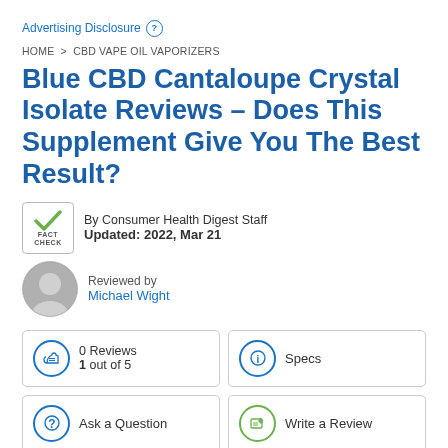Advertising Disclosure ?
HOME > CBD VAPE OIL VAPORIZERS
Blue CBD Cantaloupe Crystal Isolate Reviews – Does This Supplement Give You The Best Result?
By Consumer Health Digest Staff
Updated: 2022, Mar 21
Reviewed by
Michael Wight
0 Reviews
1 out of 5
Specs
Ask a Question
Write a Review